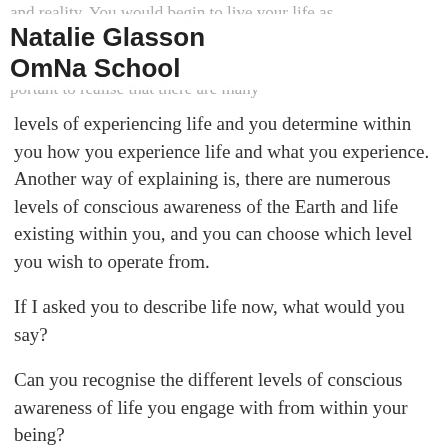and reality. You would begin to live your life as
Natalie Glasson OmNa School
portant to realise that there are many
levels of experiencing life and you determine within you how you experience life and what you experience. Another way of explaining is, there are numerous levels of conscious awareness of the Earth and life existing within you, and you can choose which level you wish to operate from.
If I asked you to describe life now, what would you say?
Can you recognise the different levels of conscious awareness of life you engage with from within your being?
Can you recognise that often the way you interpret life is from the awareness you are